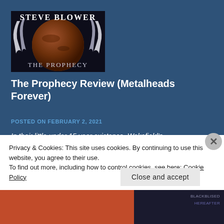[Figure (illustration): Album cover for 'The Prophecy' by Steve Blower, showing a brown planet (Mars-like) with ghostly white figures and text 'STEVE BLOWER' at top and 'THE PROPHECY' at bottom on dark background.]
The Prophecy Review (Metalheads Forever)
POSTED ON FEBRUARY 2, 2021
In their little under 15 year existence, Wakefield's
Privacy & Cookies: This site uses cookies. By continuing to use this website, you agree to their use.
To find out more, including how to control cookies, see here: Cookie Policy
Close and accept